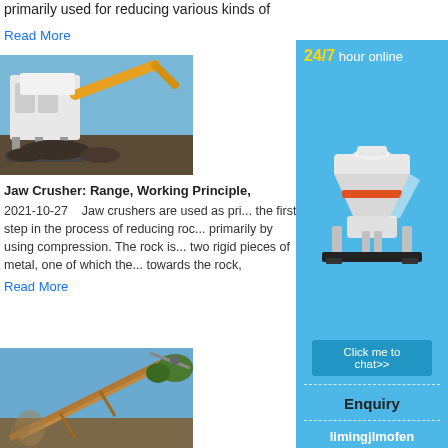primarily used for reducing various kinds of
Read More
[Figure (photo): Large jaw crusher machine with yellow excavator arm, on a construction/demolition site outdoors.]
Jaw Crusher: Range, Working Principle,
2021-10-27    Jaw crushers are used as pri... the first step in the process of reducing roc... primarily by using compression. The rock is... two rigid pieces of metal, one of which the... towards the rock,
Read More
[Figure (photo): Industrial conveyor or crane structure photographed from below against a blue sky.]
[Figure (infographic): Sidebar chat widget: 24/7 hour online text in yellow and white, image of a cone crusher machine, 'Click me to chat>>' button, 'Enquiry' button, 'limingjlmofen' text at bottom. Blue background.]